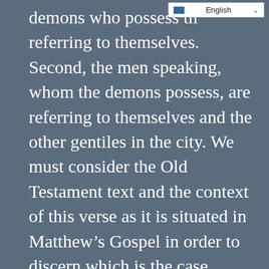demons who possess th… referring to themselves. Second, the men speaking, whom the demons possess, are referring to themselves and the other gentiles in the city. We must consider the Old Testament text and the context of this verse as it is situated in Matthew's Gospel in order to discern which is the case.
Are the demons referring to themselves?
There is one pointing in the text that surely indicates that the demons are referring to themselves. In verse 39, the demons will